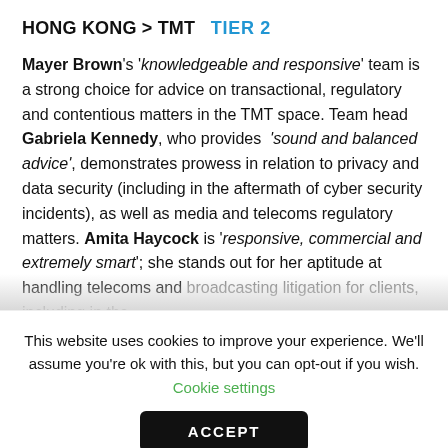HONG KONG > TMT   TIER 2
Mayer Brown's 'knowledgeable and responsive' team is a strong choice for advice on transactional, regulatory and contentious matters in the TMT space. Team head Gabriela Kennedy, who provides 'sound and balanced advice', demonstrates prowess in relation to privacy and data security (including in the aftermath of cyber security incidents), as well as media and telecoms regulatory matters. Amita Haycock is 'responsive, commercial and extremely smart'; she stands out for her aptitude at handling telecoms and broadcasting litigation for clients, including in the
This website uses cookies to improve your experience. We'll assume you're ok with this, but you can opt-out if you wish. Cookie settings
ACCEPT